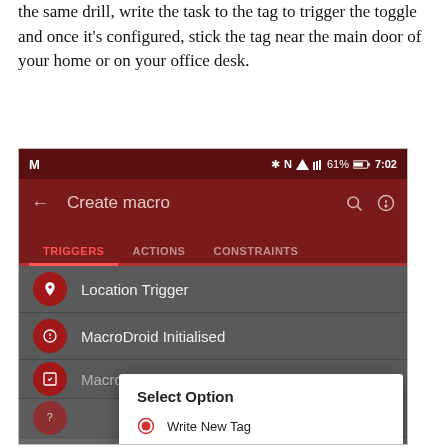the same drill, write the task to the tag to trigger the toggle and once it's configured, stick the tag near the main door of your home or on your office desk.
[Figure (screenshot): Android app screenshot showing MacroDroid 'Create macro' screen with TRIGGERS/ACTIONS/CONSTRAINTS tabs. List shows Location Trigger, MacroDroid Initialised, and partially visible items. A dialog 'Select Option' is overlaid with 'Write New Tag' (selected) and 'Existing MacroDroid Tag' (faded) options.]